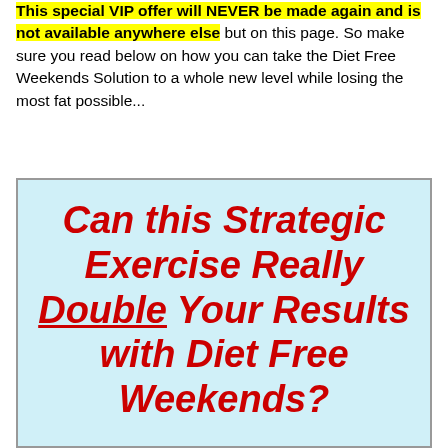This special VIP offer will NEVER be made again and is not available anywhere else but on this page. So make sure you read below on how you can take the Diet Free Weekends Solution to a whole new level while losing the most fat possible...
Can this Strategic Exercise Really Double Your Results with Diet Free Weekends?